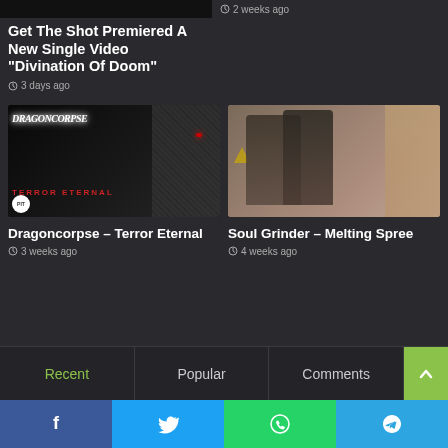[Figure (screenshot): Partial top image strip left side (dark)]
[Figure (screenshot): Partial top image strip right side with time stamp area]
2 weeks ago
Get The Shot Premiered A New Single Video “Divination Of Doom”
3 days ago
[Figure (photo): Dragoncorpse - Terror Eternal album artwork: dark knight in chainmail with red eye, Dragoncorpse logo text, TERROR ETERNAL text, PIT badge]
[Figure (photo): Soul Grinder - Melting Spree: two women with tattoos and dark hair posing together indoors]
Dragoncorpse – Terror Eternal
3 weeks ago
Soul Grinder – Melting Spree
4 weeks ago
Recent
Popular
Comments
[Figure (screenshot): Social share bar with Facebook, Twitter, WhatsApp, Telegram buttons]